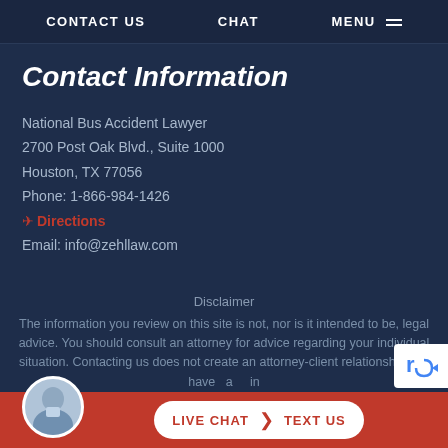CONTACT US   CHAT   MENU
Contact Information
National Bus Accident Lawyer
2700 Post Oak Blvd., Suite 1000
Houston, TX 77056
Phone: 1-866-984-1426
✈ Directions
Email: info@zehllaw.com
Disclaimer
The information you review on this site is not, nor is it intended to be, legal advice. You should consult an attorney for advice regarding your individual situation. Contacting us does not create an attorney-client relationship. Ou... have... a... in...